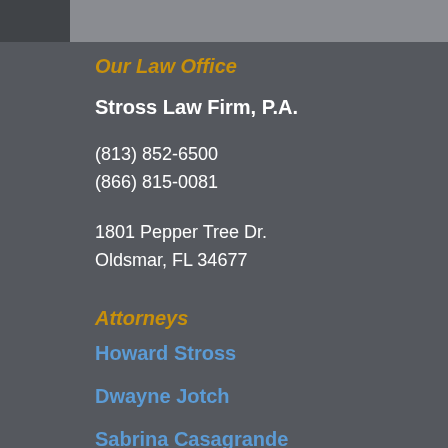Our Law Office
Stross Law Firm, P.A.
(813) 852-6500
(866) 815-0081
1801 Pepper Tree Dr.
Oldsmar, FL 34677
Attorneys
Howard Stross
Dwayne Jotch
Sabrina Casagrande